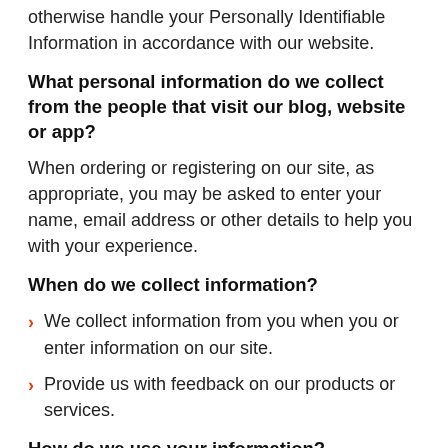otherwise handle your Personally Identifiable Information in accordance with our website.
What personal information do we collect from the people that visit our blog, website or app?
When ordering or registering on our site, as appropriate, you may be asked to enter your name, email address or other details to help you with your experience.
When do we collect information?
We collect information from you when you or enter information on our site.
Provide us with feedback on our products or services.
How do we use your information?